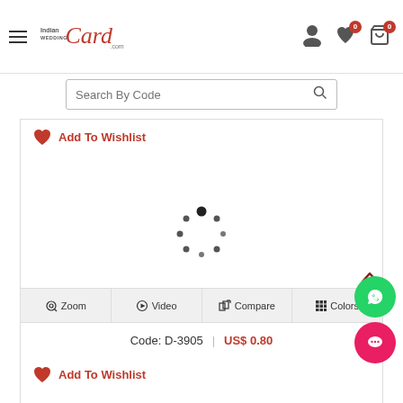[Figure (screenshot): IndianWeddingCard.com website header with hamburger menu, logo, user icon, heart wishlist icon with badge 0, and cart icon with badge 0]
[Figure (screenshot): Search bar with text 'Search By Code' and magnifying glass icon]
Add To Wishlist
[Figure (other): Loading spinner - circular dots animation in center of product card area]
Zoom  Video  Compare  Colors
Code: D-3905 | US$ 0.80
Add To Wishlist
[Figure (other): WhatsApp floating chat button (green circle)]
[Figure (other): Chat floating button (pink/red circle with chat bubble icon)]